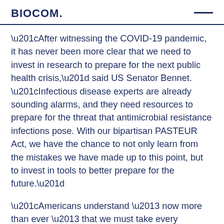BIOCOM.
“After witnessing the COVID-19 pandemic, it has never been more clear that we need to invest in research to prepare for the next public health crisis,” said US Senator Bennet. “Infectious disease experts are already sounding alarms, and they need resources to prepare for the threat that antimicrobial resistance infections pose. With our bipartisan PASTEUR Act, we have the chance to not only learn from the mistakes we have made up to this point, but to invest in tools to better prepare for the future.”
“Americans understand – now more than ever – that we must take every reasonable and responsible measure to prevent future public health crises. Antimicrobial resistance has become a growing crisis in recent years. Market failures have resulted in a lack of needed research and development in this field which is a threat